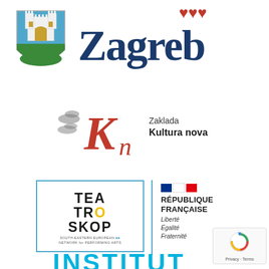[Figure (logo): Zagreb city coat of arms — shield with castle, blue and green fields]
[Figure (logo): Zagreb city logo — red hearts above and large dark blue serif text 'Zagreb']
[Figure (logo): Zaklada Kultura nova logo — stylized red 'Kn' lettering with decorative elements and text 'Zaklada Kultura nova']
[Figure (logo): Teatroskop logo — text in box with light blue border: TEA TRO SKOP, South-Eastern European Network for Performing Arts]
[Figure (logo): République Française logo with tricolor flag and motto: Liberté, Égalité, Fraternité]
[Figure (logo): Institut logo in cyan/turquoise large bold uppercase letters]
[Figure (logo): Google reCAPTCHA badge with Privacy and Terms links]